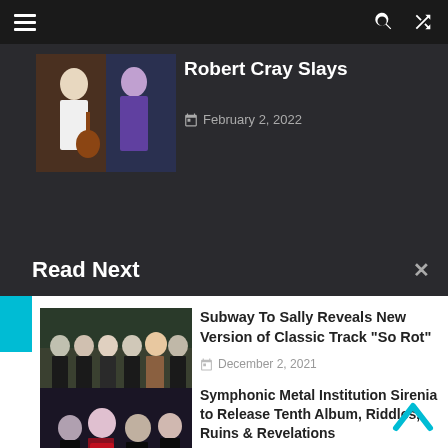Navigation bar with hamburger menu, search icon, and shuffle icon
Robert Cray Slays
February 2, 2022
Read Next
Subway To Sally Reveals New Version of Classic Track “So Rot”
December 2, 2021
Symphonic Metal Institution Sirenia to Release Tenth Album, Riddles, Ruins & Revelations
December 8, 2020